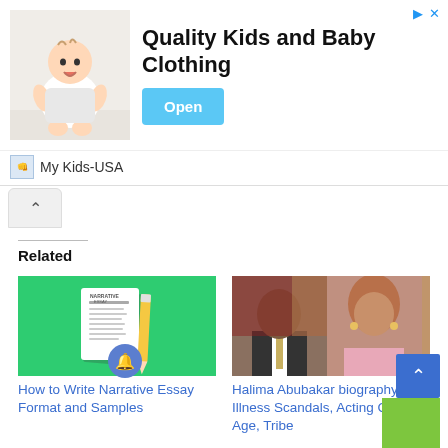[Figure (screenshot): Advertisement banner for My Kids-USA showing a baby photo, text 'Quality Kids and Baby Clothing', and an Open button]
[Figure (screenshot): Collapse/chevron-up button below the ad banner]
Related
[Figure (illustration): Green background with a narrative essay document and pencil illustration]
How to Write Narrative Essay Format and Samples
[Figure (photo): Split photo of Halima Abubakar biography - man in suit and woman with pink top]
Halima Abubakar biography, Illness Scandals, Acting Career, Age, Tribe
[Figure (photo): Photo of a woman with a child, partially visible at bottom of page]